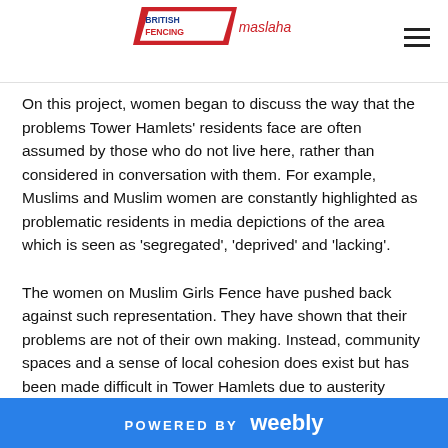British Fencing Maslaha logo and navigation
On this project, women began to discuss the way that the problems Tower Hamlets' residents face are often assumed by those who do not live here, rather than considered in conversation with them. For example, Muslims and Muslim women are constantly highlighted as problematic residents in media depictions of the area which is seen as 'segregated', 'deprived' and 'lacking'.
The women on Muslim Girls Fence have pushed back against such representation. They have shown that their problems are not of their own making. Instead, community spaces and a sense of local cohesion does exist but has been made difficult in Tower Hamlets due to austerity which has destroyed public services and communal spaces; gentrification which has
POWERED BY weebly